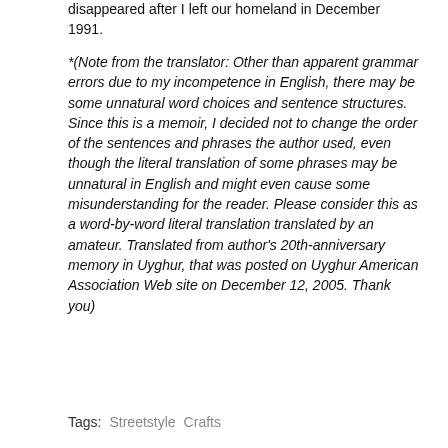disappeared after I left our homeland in December 1991.
*(Note from the translator: Other than apparent grammar errors due to my incompetence in English, there may be some unnatural word choices and sentence structures. Since this is a memoir, I decided not to change the order of the sentences and phrases the author used, even though the literal translation of some phrases may be unnatural in English and might even cause some misunderstanding for the reader. Please consider this as a word-by-word literal translation translated by an amateur. Translated from author's 20th-anniversary memory in Uyghur, that was posted on Uyghur American Association Web site on December 12, 2005. Thank you)
Tags: Streetstyle  Crafts